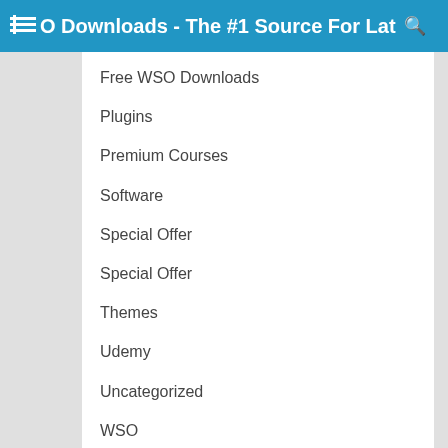WSO Downloads - The #1 Source For Lat
Free WSO Downloads
Plugins
Premium Courses
Software
Special Offer
Special Offer
Themes
Udemy
Uncategorized
WSO
WSO – JVZOO Downloads